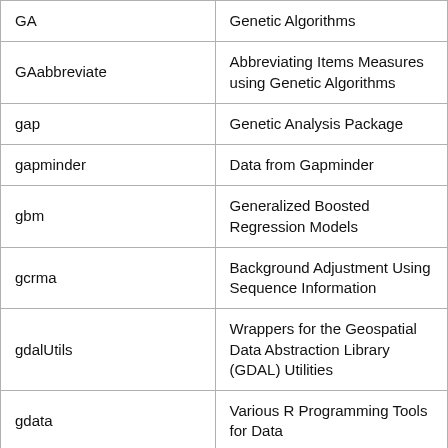| Package | Description |
| --- | --- |
| GA | Genetic Algorithms |
| GAabbreviate | Abbreviating Items Measures using Genetic Algorithms |
| gap | Genetic Analysis Package |
| gapminder | Data from Gapminder |
| gbm | Generalized Boosted Regression Models |
| gcrma | Background Adjustment Using Sequence Information |
| gdalUtils | Wrappers for the Geospatial Data Abstraction Library (GDAL) Utilities |
| gdata | Various R Programming Tools for Data |